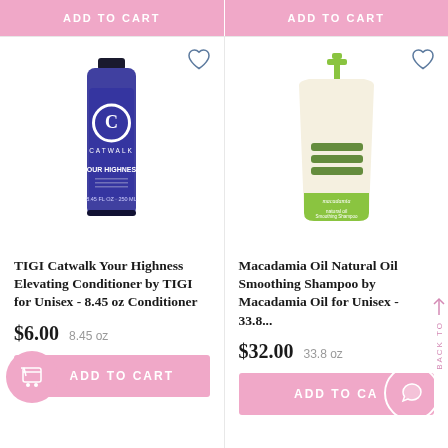[Figure (screenshot): Top partial 'ADD TO CART' buttons for two products above the fold]
[Figure (photo): TIGI Catwalk Your Highness purple conditioner bottle, 8.45 oz]
TIGI Catwalk Your Highness Elevating Conditioner by TIGI for Unisex - 8.45 oz Conditioner
$6.00   8.45 oz
ADD TO CART
[Figure (photo): Macadamia Oil Natural Oil Smoothing Shampoo bottle with green pump, 33.8 oz]
Macadamia Oil Natural Oil Smoothing Shampoo by Macadamia Oil for Unisex - 33.8...
$32.00   33.8 oz
ADD TO CA